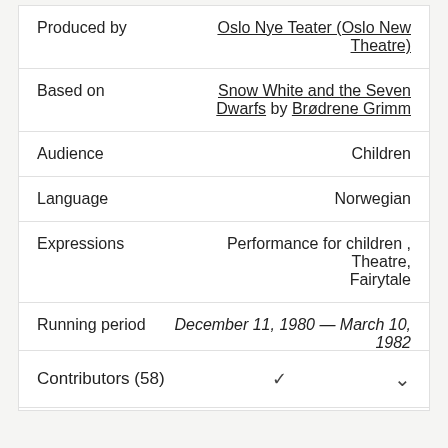| Field | Value |
| --- | --- |
| Produced by | Oslo Nye Teater (Oslo New Theatre) |
| Based on | Snow White and the Seven Dwarfs by Brødrene Grimm |
| Audience | Children |
| Language | Norwegian |
| Expressions | Performance for children , Theatre, Fairytale |
| Running period | December 11, 1980 — March 10, 1982 |
| Duration | 2 hours, 10 minutes |
Contributors (58)